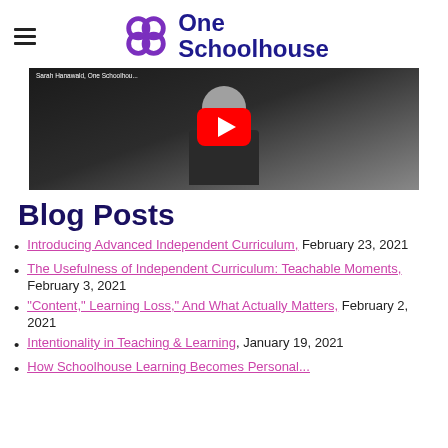One Schoolhouse
[Figure (screenshot): YouTube video thumbnail showing a man in a dark shirt, with a red YouTube play button overlay. A text label at top left reads 'Sarah Hanawald, One Schoolhous...']
Blog Posts
Introducing Advanced Independent Curriculum, February 23, 2021
The Usefulness of Independent Curriculum: Teachable Moments, February 3, 2021
"Content," Learning Loss," And What Actually Matters, February 2, 2021
Intentionality in Teaching & Learning, January 19, 2021
How Schoolhouse Learning Becomes Personal...